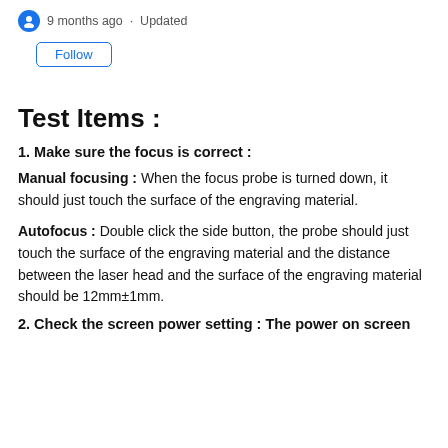9 months ago · Updated
Follow
Test Items :
1. Make sure the focus is correct :
Manual focusing : When the focus probe is turned down, it should just touch the surface of the engraving material.
Autofocus : Double click the side button, the probe should just touch the surface of the engraving material and the distance between the laser head and the surface of the engraving material should be 12mm±1mm.
2. Check the screen power setting : The power on screen